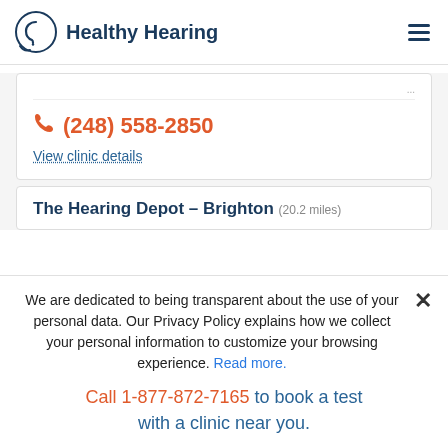Healthy Hearing
(248) 558-2850
View clinic details
The Hearing Depot – Brighton (20.2 miles)
We are dedicated to being transparent about the use of your personal data. Our Privacy Policy explains how we collect your personal information to customize your browsing experience. Read more.
Call 1-877-872-7165 to book a test with a clinic near you.